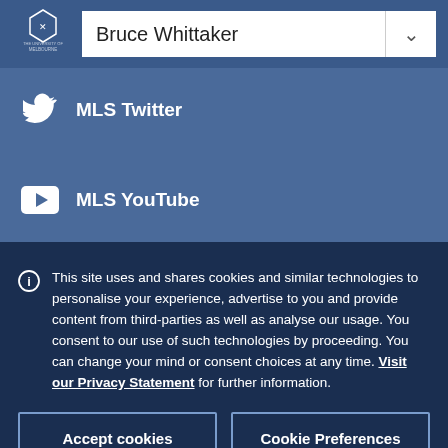Bruce Whittaker
MLS Twitter
MLS YouTube
This site uses and shares cookies and similar technologies to personalise your experience, advertise to you and provide content from third-parties as well as analyse our usage. You consent to our use of such technologies by proceeding. You can change your mind or consent choices at any time. Visit our Privacy Statement for further information.
Accept cookies
Cookie Preferences